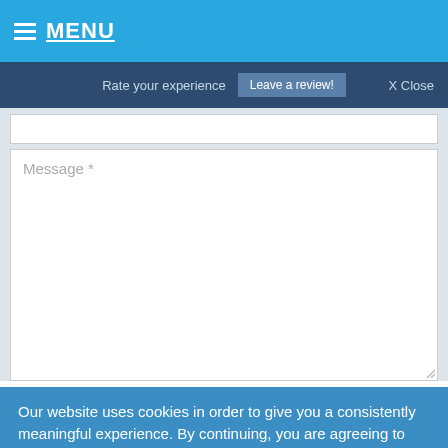MENU
Rate your experience   Leave a review!   X Close
[Figure (screenshot): White input field (top of form)]
[Figure (screenshot): Message text area with placeholder 'Message *' and resize handle]
Our website uses cookies in order to give you a consistently meaningful experience. By continuing, you are agreeing to our use of these cookies. For more information about your data privacy you can visit our privacy policy page.
Accept and Close ✕
Your browser settings do not allow cross-site tracking for advertising. Click on this page to allow AdRoll to use cross-site tracking to tailor ads to you. Learn more or opt out of this AdRoll tracking by clicking here. This message only appears once.